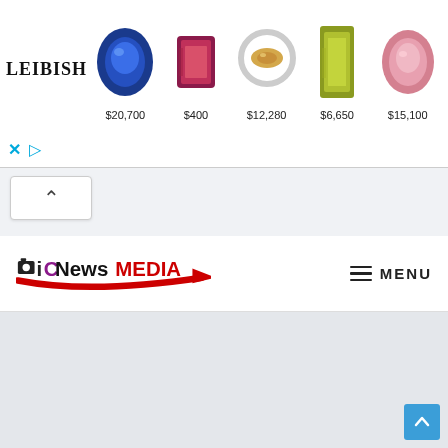[Figure (screenshot): LEIBISH jewelry/gemstone advertisement banner showing logo and 5 gemstone items with prices: $20,700 (blue round sapphire), $400 (red/pink emerald cut gem), $12,280 (white diamond ring), $6,650 (yellow stone), $15,100 (pink oval gem)]
[Figure (screenshot): Navigation bar with ICNewsMedia logo on left and MENU hamburger button on right]
[Figure (screenshot): Light gray empty content area below navigation]